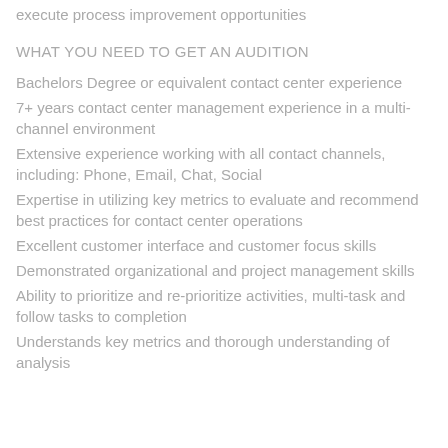execute process improvement opportunities
WHAT YOU NEED TO GET AN AUDITION
Bachelors Degree or equivalent contact center experience
7+ years contact center management experience in a multi-channel environment
Extensive experience working with all contact channels, including: Phone, Email, Chat, Social
Expertise in utilizing key metrics to evaluate and recommend best practices for contact center operations
Excellent customer interface and customer focus skills
Demonstrated organizational and project management skills
Ability to prioritize and re-prioritize activities, multi-task and follow tasks to completion
Understands key metrics and thorough understanding of analysis